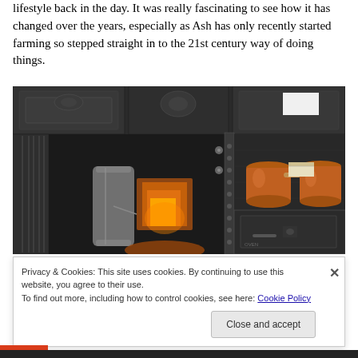lifestyle back in the day. It was really fascinating to see how it has changed over the years, especially as Ash has only recently started farming so stepped straight in to the 21st century way of doing things.
[Figure (photo): An antique cast iron kitchen range with ornate dark metal cabinetry. Inside the range opening are copper pots/pans, a large metal cylinder (possibly a boiler), and a glowing firebox. The range has decorative carved panels and knobs.]
Privacy & Cookies: This site uses cookies. By continuing to use this website, you agree to their use. To find out more, including how to control cookies, see here: Cookie Policy